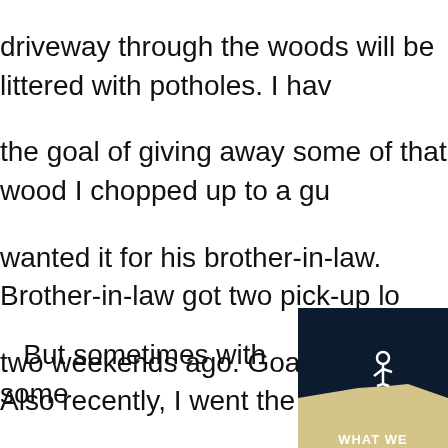driveway through the woods will be littered with potholes. I have the goal of giving away some of that wood I chopped up to a guy wanted it for his brother-in-law. Brother-in-law got two pick-up loads two weekends ago. Goal complete. Also recently, I went the the (department of motor vehicles) and got my new driver's licence, of June 10 is quickly approaching and my WSDL (Washington State Licence) was about to expire. 1st try at accomplishing this goal line for over an hour, only to be forced to leave before my number else I would have been late for work. BUT yesterday I persevered out the full hour and half wait to go through the line and get my reknewed. Yay!
But sometimes with some goals that's what you have to do, go at it several times and persevere.
[Figure (illustration): Dark blue background image showing a stick figure standing on a cliff edge, with the text 'WHAT WE' visible at the bottom.]
With some goals that's